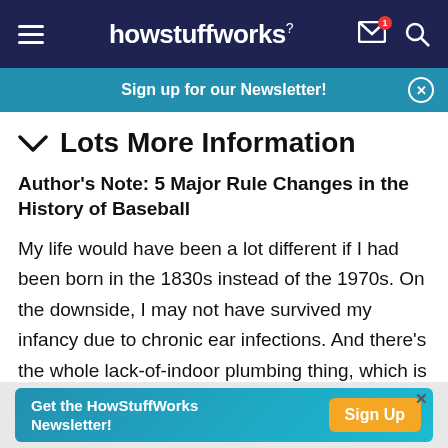howstuffworks
Sign up for our Newsletter!
Lots More Information
Author's Note: 5 Major Rule Changes in the History of Baseball
My life would have been a lot different if I had been born in the 1830s instead of the 1970s. On the downside, I may not have survived my infancy due to chronic ear infections. And there's the whole lack-of-indoor plumbing thing, which is kind of gross. But
Get the HowStuffWorks Newsletter! Sign Up